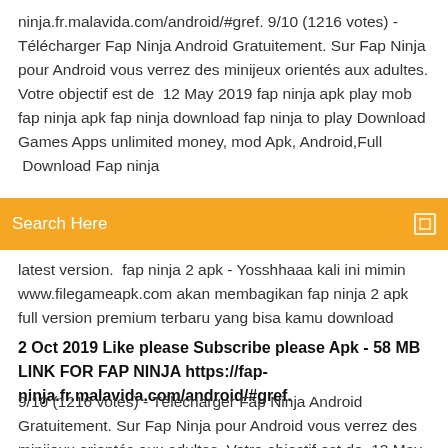ninja.fr.malavida.com/android/#gref. 9/10 (1216 votes) - Télécharger Fap Ninja Android Gratuitement. Sur Fap Ninja pour Android vous verrez des minijeux orientés aux adultes. Votre objectif est de  12 May 2019 fap ninja apk play mob fap ninja apk fap ninja download fap ninja to play Download Games Apps unlimited money, mod Apk, Android,Full  Download Fap ninja
Search Here
latest version.  fap ninja 2 apk - Yosshhaaa kali ini mimin www.filegameapk.com akan membagikan fap ninja 2 apk full version premium terbaru yang bisa kamu download
2 Oct 2019 Like please Subscribe please Apk - 58 MB LINK FOR FAP NINJA https://fap-ninja.fr.malavida.com/android/#gref.
9/10 (1216 votes) - Télécharger Fap Ninja Android Gratuitement. Sur Fap Ninja pour Android vous verrez des minijeux orientés aux adultes. Votre objectif est de  12 May 2019 fap ninja apk